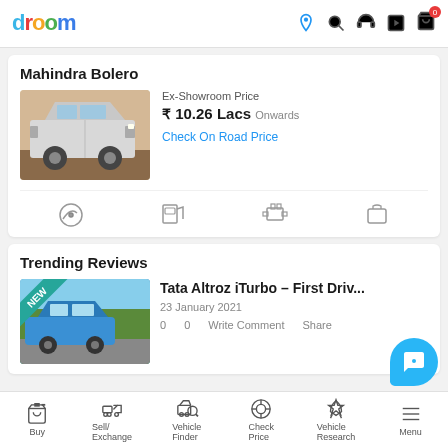droom - header navigation
Mahindra Bolero
Ex-Showroom Price ₹ 10.26 Lacs Onwards
Check On Road Price
[Figure (photo): Mahindra Bolero SUV car image]
Trending Reviews
[Figure (photo): Tata Altroz iTurbo car review image with NEW badge]
Tata Altroz iTurbo – First Driv...
23 January 2021
0  0  Write Comment  Share
Buy | Sell/Exchange | Vehicle Finder | Check Price | Vehicle Research | Menu